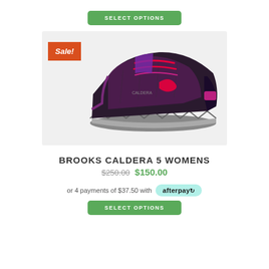SELECT OPTIONS
[Figure (photo): Brooks Caldera 5 Womens trail running shoe in black, purple, and pink colorway, side profile view on a light grey background. An orange 'Sale!' badge is overlaid on the top-left corner of the image.]
BROOKS CALDERA 5 WOMENS
$250.00 $150.00
or 4 payments of $37.50 with afterpay
SELECT OPTIONS